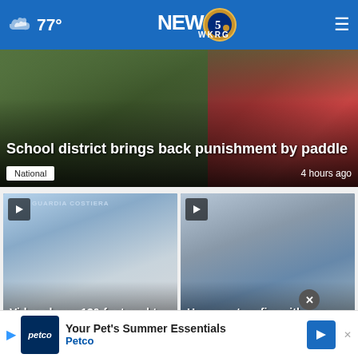77° NEWS 5 WKRG
[Figure (screenshot): Hero news card with background image of school parking lot. Headline: School district brings back punishment by paddle. Tag: National. Time: 4 hours ago]
School district brings back punishment by paddle
National  4 hours ago
[Figure (screenshot): Video thumbnail of 130-foot yacht sinking. Play button in top left. Watermark text visible. Headline: Video shows 130-foot yacht sink into... Tag: Intern. Time visible.]
[Figure (screenshot): Video thumbnail showing people near wall. Play button in top left. Headline: House set on fire with son inside, mom wants... Time: urs ago]
Your Pet's Summer Essentials  Petco